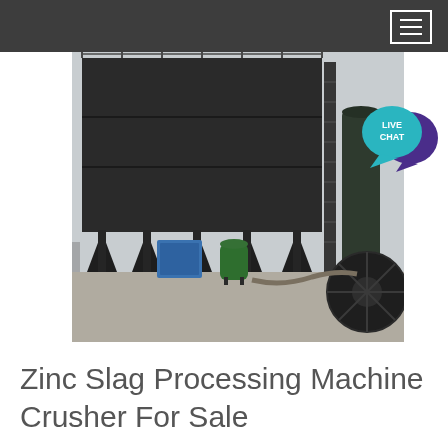[Figure (photo): Industrial dust collector or air filtration unit: a large black rectangular structure on metal legs with hoppers beneath, alongside a large black duct/pipe system with a fan, a small blue electrical cabinet, and a green pressure tank. Outdoor industrial facility.]
Zinc Slag Processing Machine Crusher For Sale